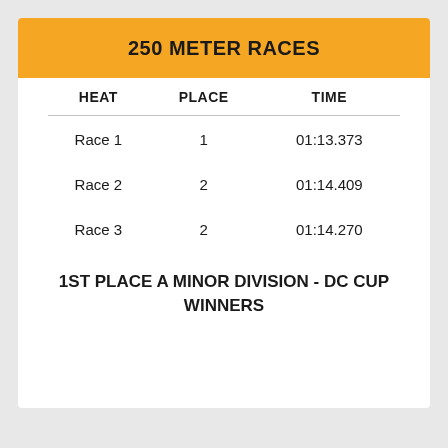250 METER RACES
| HEAT | PLACE | TIME |
| --- | --- | --- |
| Race 1 | 1 | 01:13.373 |
| Race 2 | 2 | 01:14.409 |
| Race 3 | 2 | 01:14.270 |
1ST PLACE A MINOR DIVISION - DC CUP WINNERS